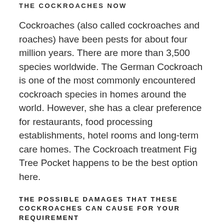THE COCKROACHES NOW
Cockroaches (also called cockroaches and roaches) have been pests for about four million years. There are more than 3,500 species worldwide. The German Cockroach is one of the most commonly encountered cockroach species in homes around the world. However, she has a clear preference for restaurants, food processing establishments, hotel rooms and long-term care homes. The Cockroach treatment Fig Tree Pocket happens to be the best option here.
THE POSSIBLE DAMAGES THAT THESE COCKROACHES CAN CAUSE FOR YOUR REQUIREMENT
Although not very cold-tolerant, German cockroaches were found in the far north in